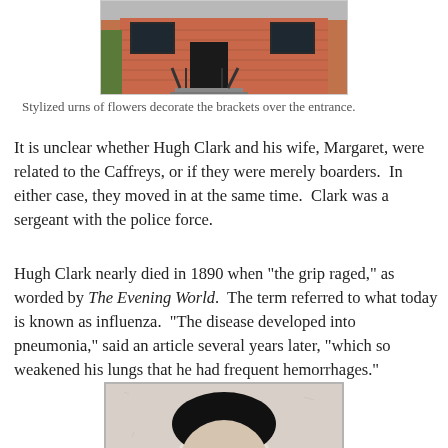[Figure (photo): Photograph of a red brick building entrance with black door and dark window frames, with steps leading up to the entrance]
Stylized urns of flowers decorate the brackets over the entrance.
It is unclear whether Hugh Clark and his wife, Margaret, were related to the Caffreys, or if they were merely boarders.  In either case, they moved in at the same time.  Clark was a sergeant with the police force.
Hugh Clark nearly died in 1890 when "the grip raged," as worded by The Evening World.  The term referred to what today is known as influenza.  "The disease developed into pneumonia," said an article several years later, "which so weakened his lungs that he had frequent hemorrhages."
[Figure (photo): Black and white portrait photograph of a person, showing the top portion of their head with dark hair]